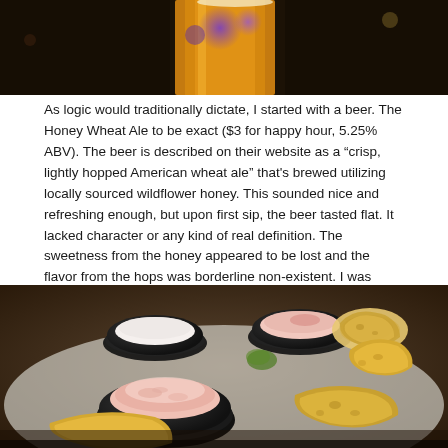[Figure (photo): Top portion of a beer glass with amber liquid, dark bar background with purple light bokeh]
As logic would traditionally dictate, I started with a beer. The Honey Wheat Ale to be exact ($3 for happy hour, 5.25% ABV). The beer is described on their website as a “crisp, lightly hopped American wheat ale” that's brewed utilizing locally sourced wildflower honey. This sounded nice and refreshing enough, but upon first sip, the beer tasted flat. It lacked character or any kind of real definition. The sweetness from the honey appeared to be lost and the flavor from the hops was borderline non-existent. I was immediately disappointed, at least I was until my food came…
[Figure (photo): Three black bowls containing pink/white creamy spread (likely crab or lobster dip) arranged on a white plate with slices of toasted baguette bread]